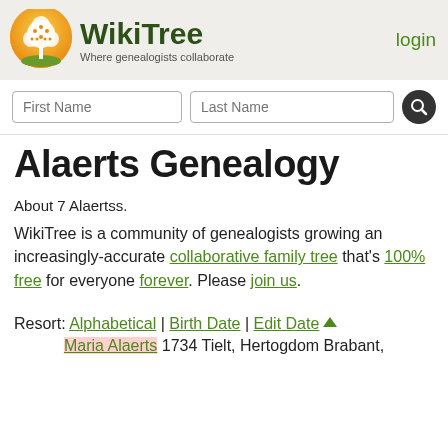[Figure (logo): WikiTree logo: orange/yellow circular tree icon with white tree silhouette, green bold text 'WikiTree', tagline 'Where genealogists collaborate']
login
First Name  Last Name [search button]
Alaerts Genealogy
About 7 Alaertss.
WikiTree is a community of genealogists growing an increasingly-accurate collaborative family tree that's 100% free for everyone forever. Please join us.
Resort: Alphabetical | Birth Date | Edit Date ▲
Maria Alaerts 1734 Tielt, Hertogdom Brabant,